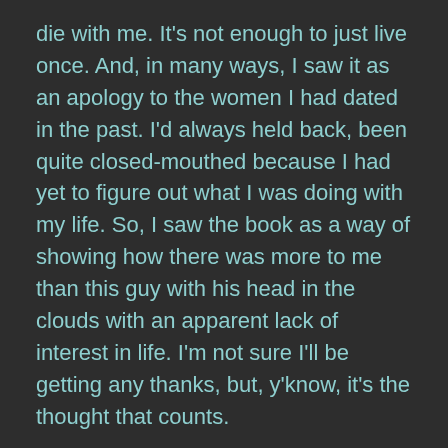die with me. It's not enough to just live once. And, in many ways, I saw it as an apology to the women I had dated in the past. I'd always held back, been quite closed-mouthed because I had yet to figure out what I was doing with my life. So, I saw the book as a way of showing how there was more to me than this guy with his head in the clouds with an apparent lack of interest in life. I'm not sure I'll be getting any thanks, but, y'know, it's the thought that counts.
Share this:
Twitter Facebook LinkedIn Tumblr Pinterest Pocket
Like